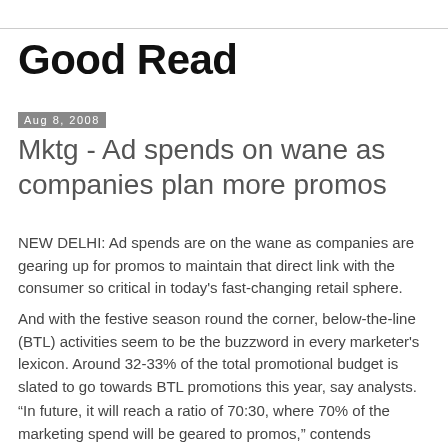Good Read
Aug 8, 2008
Mktg - Ad spends on wane as companies plan more promos
NEW DELHI: Ad spends are on the wane as companies are gearing up for promos to maintain that direct link with the consumer so critical in today's fast-changing retail sphere.
And with the festive season round the corner, below-the-line (BTL) activities seem to be the buzzword in every marketer's lexicon. Around 32-33% of the total promotional budget is slated to go towards BTL promotions this year, say analysts.
“In future, it will reach a ratio of 70:30, where 70% of the marketing spend will be geared to promos,” contends Consults Inc CEO Harish Bijoor. As for above the line or